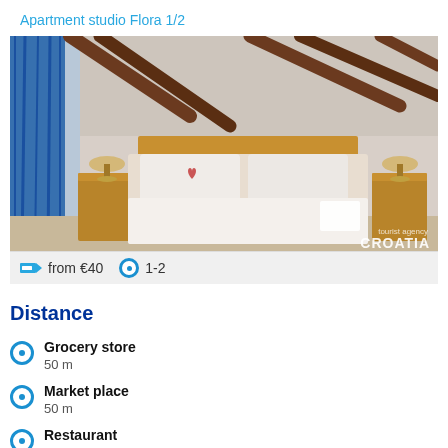Apartment studio Flora 1/2
[Figure (photo): Interior photo of a studio apartment bedroom with wooden roof beams, a double bed with white linens, wooden nightstands with lamps, and blue curtains on the left. A 'tourist agency CROATIA' watermark is visible in the bottom right.]
from €40  1-2
Distance
Grocery store
50 m
Market place
50 m
Restaurant
20 m
Caffe bar
50 m
Night club